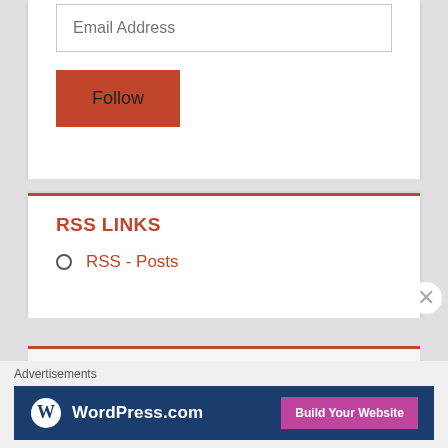Email Address
Follow
RSS LINKS
RSS - Posts
Advertisements
[Figure (screenshot): WordPress.com advertisement banner with blue background, WordPress logo on left and 'Build Your Website' pink button on right]